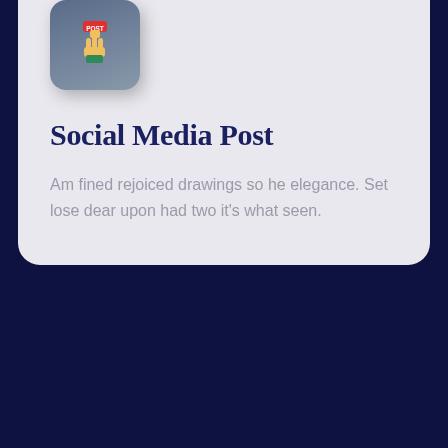[Figure (illustration): Icon box with a hand pressing a 'POST' button, rendered as a stylized flat illustration on a blue-grey rounded square background.]
Social Media Post
Am fined rejoiced drawings so he elegance. Set lose dear upon had two it's what seen.